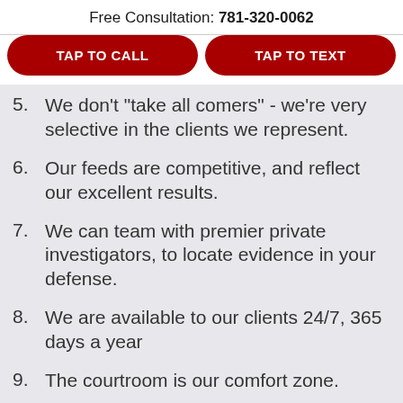Free Consultation: 781-320-0062
TAP TO CALL
TAP TO TEXT
5.  We don't "take all comers" - we're very selective in the clients we represent.
6.  Our feeds are competitive, and reflect our excellent results.
7.  We can team with premier private investigators, to locate evidence in your defense.
8.  We are available to our clients 24/7, 365 days a year
9.  The courtroom is our comfort zone.